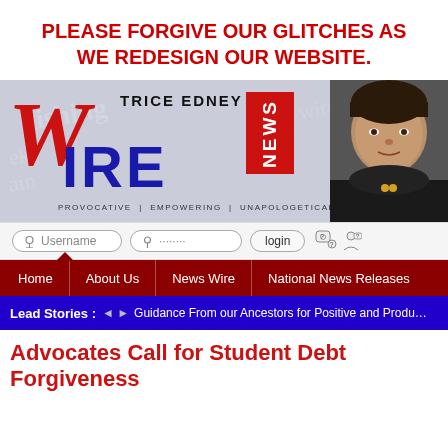PLEASE FORGIVE OUR GLITCHES AS WE REDESIGN OUR WEBSITE.
[Figure (illustration): Trice Edney WIRE News banner logo with red W, blue IRE, red NEWS box, and tagline: PROVOCATIVE | EMPOWERING | UNAPOLOGETICALLY BLACK. A woman's photo appears on the right side of the banner.]
Username  ········  login
Home | About Us | News Wire | National News Releases
Lead Stories :  ◄ ► Guidance From our Ancestors for Positive and Produ…
Advocates Call for Student Debt Forgiveness